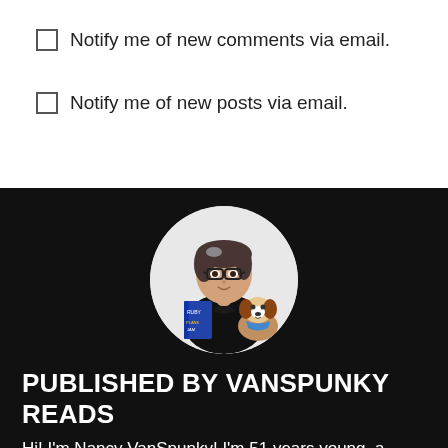Notify me of new comments via email.
Notify me of new posts via email.
[Figure (illustration): Circular avatar illustration of a woman with short dark hair, glasses, wearing black, holding a book and a Jack Russell terrier dog]
PUBLISHED BY VANSPUNKY READS
Hi! I'm Nancy VanSpunky! I'm 51 years young, a